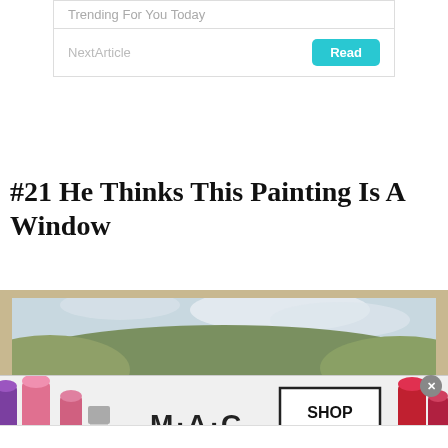Trending For You Today
NextArticle
#21 He Thinks This Painting Is A Window
[Figure (photo): A dog seen from behind, looking at a large landscape painting of hills and countryside, appearing to think the painting is a window.]
[Figure (photo): M·A·C cosmetics advertisement showing colorful lipsticks with text SHOP NOW]